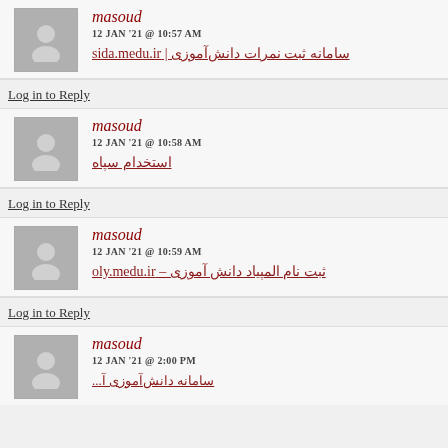masoud
12 JAN '21 @ 10:57 AM
سامانه ثبت نمرات دانش‌آموزی | sida.medu.ir
Log in to Reply
masoud
12 JAN '21 @ 10:58 AM
استخدام سپاه
Log in to Reply
masoud
12 JAN '21 @ 10:59 AM
ثبت نام المپیاد دانش آموزی – oly.medu.ir
Log in to Reply
masoud
12 JAN '21 @ 2:00 PM